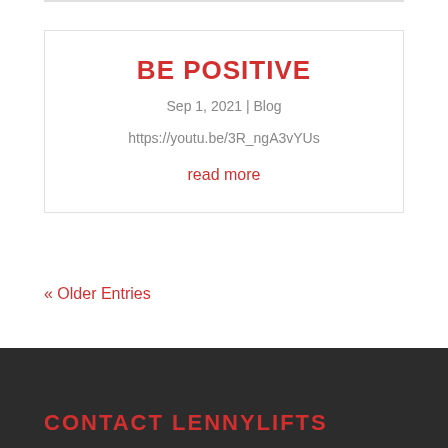BE POSITIVE
Sep 1, 2021 | Blog
https://youtu.be/3R_ngA3vYUs
read more
« Older Entries
CONTACT LENNYLIFTS